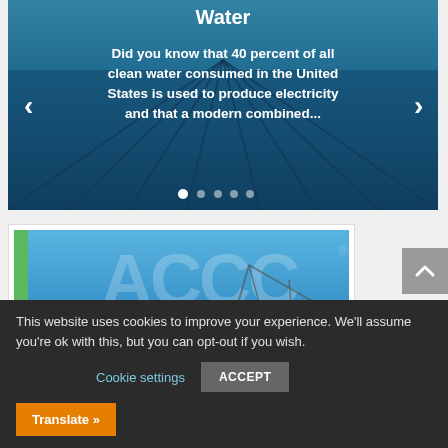[Figure (photo): Hero carousel showing underwater swimming pool lanes from above, with blue tiled lanes receding into the distance. Navigation arrows on left and right sides. Slide indicator dots at bottom.]
Water
Did you know that 40 percent of all clean water consumed in the United States is used to produce electricity and that a modern combined...
[Figure (photo): CTC Global ACCC High Performance Conductors advertisement card showing a crane and conductors against a blue sky, with large ACCC watermark text and a green vertical bar on the left.]
CTC Global's
High Performance Conductors
This website uses cookies to improve your experience. We'll assume you're ok with this, but you can opt-out if you wish.